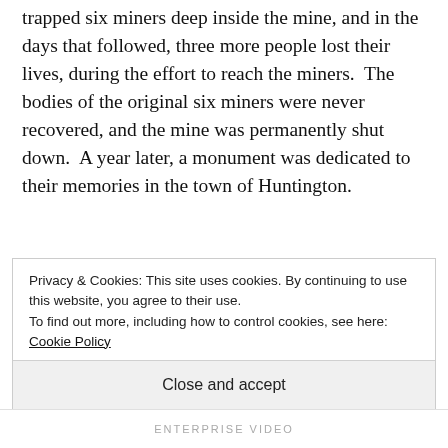trapped six miners deep inside the mine, and in the days that followed, three more people lost their lives, during the effort to reach the miners.  The bodies of the original six miners were never recovered, and the mine was permanently shut down.  A year later, a monument was dedicated to their memories in the town of Huntington.
At Huntington, turn south on U-10. Just before Castle Dale, watch for a road that turns off to the left, and a sign that promises access to the San Rafael Swell.  This road heads
Privacy & Cookies: This site uses cookies. By continuing to use this website, you agree to their use.
To find out more, including how to control cookies, see here: Cookie Policy
Close and accept